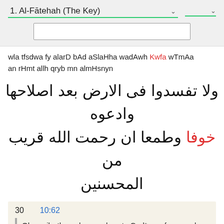1. Al-Fātehah (The Key)
wla tfsdwa fy alarD bAd aSlaHha wadAwh Kwfa wTmAa
an rHmt allh qryb mn almHsnyn
ولا تفسدوا فى الارض بعد اصلاحها وادعوه
خوفا وطمعا ان رحمت الله قريب من
المحسنين
30   10:62
Oh, verily, they who are close to God* - no fear need they have, and neither shall they grieve: